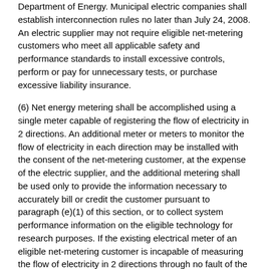Department of Energy. Municipal electric companies shall establish interconnection rules no later than July 24, 2008. An electric supplier may not require eligible net-metering customers who meet all applicable safety and performance standards to install excessive controls, perform or pay for unnecessary tests, or purchase excessive liability insurance.
(6) Net energy metering shall be accomplished using a single meter capable of registering the flow of electricity in 2 directions. An additional meter or meters to monitor the flow of electricity in each direction may be installed with the consent of the net-metering customer, at the expense of the electric supplier, and the additional metering shall be used only to provide the information necessary to accurately bill or credit the customer pursuant to paragraph (e)(1) of this section, or to collect system performance information on the eligible technology for research purposes. If the existing electrical meter of an eligible net-metering customer is incapable of measuring the flow of electricity in 2 directions through no fault of the customer, the electric supplier shall be responsible for all expenses involved in purchasing and installing a meter that is able to measure the flow of electricity in 2 directions. However, where a larger capacity meter is required to serve the customer, or a larger capacity meter is requested by the customer, the customer shall pay the electric supplier the difference between the larger capacity meter